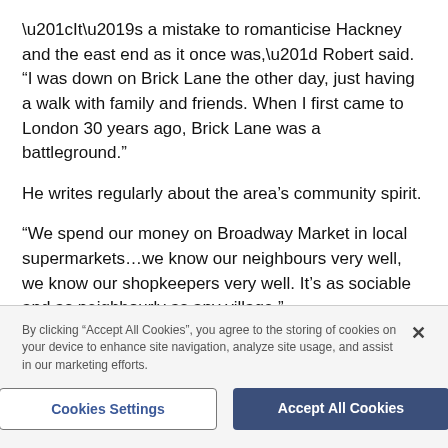“It’s a mistake to romanticise Hackney and the east end as it once was,” Robert said. “I was down on Brick Lane the other day, just having a walk with family and friends. When I first came to London 30 years ago, Brick Lane was a battleground.”
He writes regularly about the area’s community spirit.
“We spend our money on Broadway Market in local supermarkets…we know our neighbours very well, we know our shopkeepers very well. It’s as sociable and as neighbourly as any village.”
By clicking “Accept All Cookies”, you agree to the storing of cookies on your device to enhance site navigation, analyze site usage, and assist in our marketing efforts.
Cookies Settings
Accept All Cookies